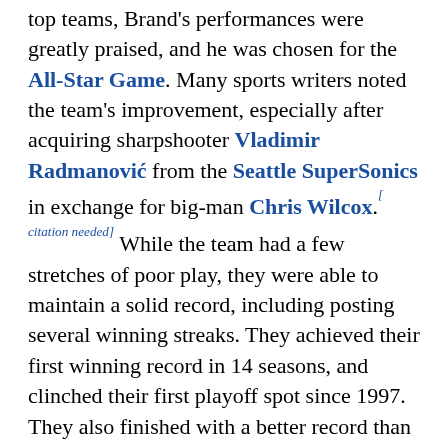top teams, Brand's performances were greatly praised, and he was chosen for the All-Star Game. Many sports writers noted the team's improvement, especially after acquiring sharpshooter Vladimir Radmanović from the Seattle SuperSonics in exchange for big-man Chris Wilcox.[citation needed] While the team had a few stretches of poor play, they were able to maintain a solid record, including posting several winning streaks. They achieved their first winning record in 14 seasons, and clinched their first playoff spot since 1997. They also finished with a better record than the Lakers for the second straight year. By finishing sixth in the Western Conference, with a record of 47–35 (their highest finish since the team left Buffalo), they benefited from the current NBA playoff format of regular-season records taking precedence over winning the division, and secured home court advantage over the